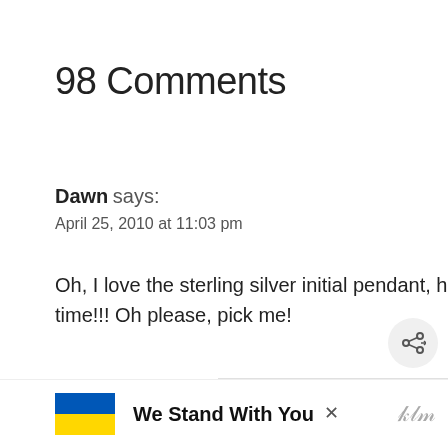98 Comments
Dawn says:
April 25, 2010 at 11:03 pm
Oh, I love the sterling silver initial pendant, have loved that necklace for a long time!!! Oh please, pick me!
Reply
[Figure (screenshot): What's Next widget showing Rustic Wood Slice... with thumbnail image]
[Figure (infographic): Ad banner with Ukrainian flag colors and text We Stand With You]